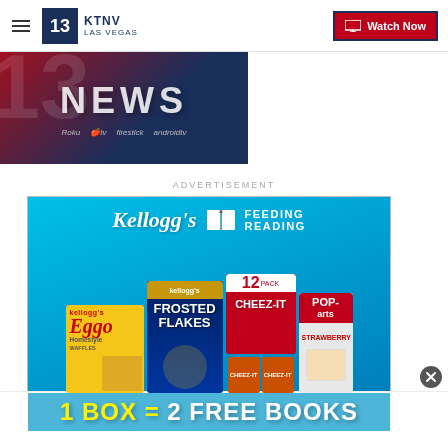KTNV LAS VEGAS | Watch Now
[Figure (screenshot): KTNV Channel 13 Las Vegas news channel promotional image with NEWS text and streaming platform icons (Roku, Apple TV, FireStick, Android TV)]
ADVERTISEMENT
[Figure (photo): Kellogg's Feeding Reading advertisement banner featuring Frosted Flakes, Cheez-It, Eggo, and Pop-Tarts products with the text '1 BOX = 2 FREE BOOKS']